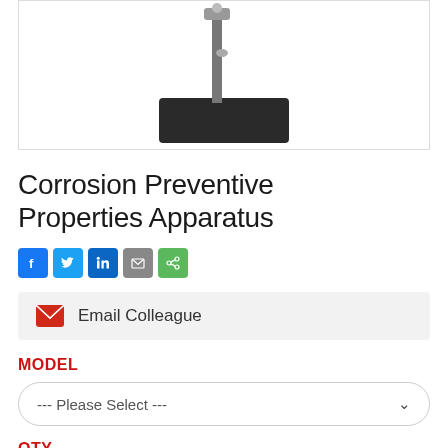[Figure (photo): Product photo of Corrosion Preventive Properties Apparatus — a lab stand with a black rectangular base plate and vertical metal rod with clamp at top, shown on white background]
Corrosion Preventive Properties Apparatus
Social share icons: Facebook, Twitter, LinkedIn, Email, Share
Email Colleague
MODEL
--- Please Select ---
QTY
1